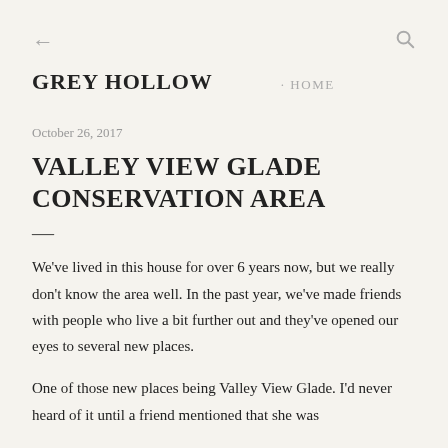← GREY HOLLOW · HOME
October 26, 2017
VALLEY VIEW GLADE CONSERVATION AREA
We've lived in this house for over 6 years now, but we really don't know the area well. In the past year, we've made friends with people who live a bit further out and they've opened our eyes to several new places.
One of those new places being Valley View Glade. I'd never heard of it until a friend mentioned that she was